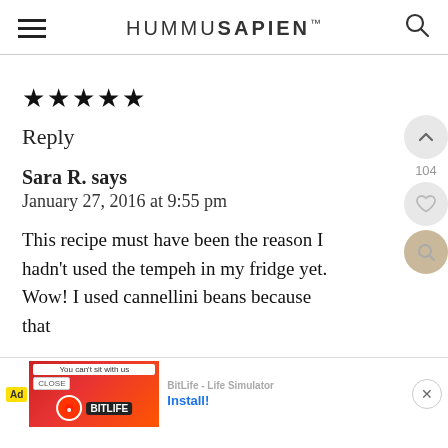HUMMUSAPIEN
★★★★★
Reply
Sara R. says
January 27, 2016 at 9:55 pm
This recipe must have been the reason I hadn't used the tempeh in my fridge yet. Wow! I used cannellini beans because that
[Figure (screenshot): Mobile advertisement banner for BitLife - Life Simulator with 'You can't sit with us' tagline, red imagery, and Install button]